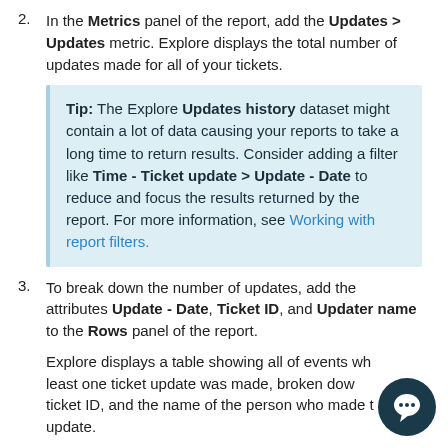2. In the Metrics panel of the report, add the Updates > Updates metric. Explore displays the total number of updates made for all of your tickets.
Tip: The Explore Updates history dataset might contain a lot of data causing your reports to take a long time to return results. Consider adding a filter like Time - Ticket update > Update - Date to reduce and focus the results returned by the report. For more information, see Working with report filters.
3. To break down the number of updates, add the attributes Update - Date, Ticket ID, and Updater name to the Rows panel of the report.
Explore displays a table showing all of events where at least one ticket update was made, broken down by the ticket ID, and the name of the person who made the update.